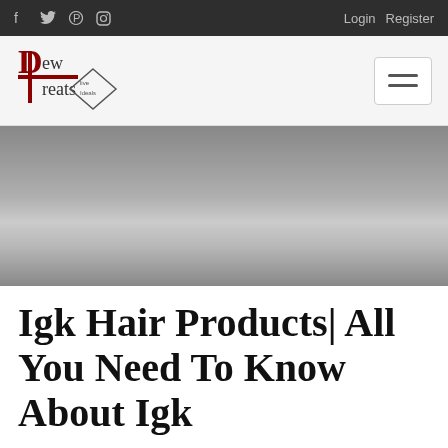f  Twitter  Pinterest  Instagram   Login  Register
[Figure (logo): Dew Treats logo with red D and cross symbol and diamond shape]
[Figure (photo): Hero image with dark-to-light gradient background]
Igk Hair Products| All You Need To Know About Igk